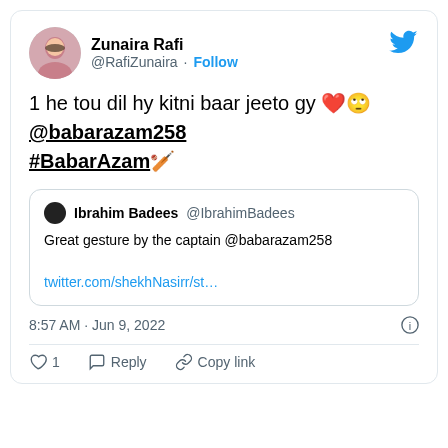[Figure (screenshot): Twitter/X screenshot of a tweet by Zunaira Rafi (@RafiZunaira) saying '1 he tou dil hy kitni baar jeeto gy ❤️🙄 @babarazam258 #BabarAzam🏏', with a quoted tweet from Ibrahim Badees (@IbrahimBadees) saying 'Great gesture by the captain @babarazam258' and a link 'twitter.com/shekhNasirr/st...'. Timestamp: 8:57 AM · Jun 9, 2022. Actions: Like 1, Reply, Copy link.]